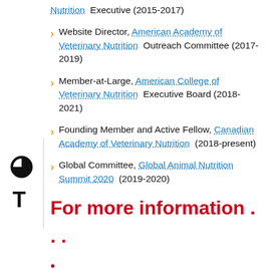Nutrition Executive (2015-2017)
Website Director, American Academy of Veterinary Nutrition Outreach Committee (2017-2019)
Member-at-Large, American College of Veterinary Nutrition Executive Board (2018-2021)
Founding Member and Active Fellow, Canadian Academy of Veterinary Nutrition (2018-present)
Global Committee, Global Animal Nutrition Summit 2020 (2019-2020)
For more information . . .
Visit  Dr.  Parr's  website  at